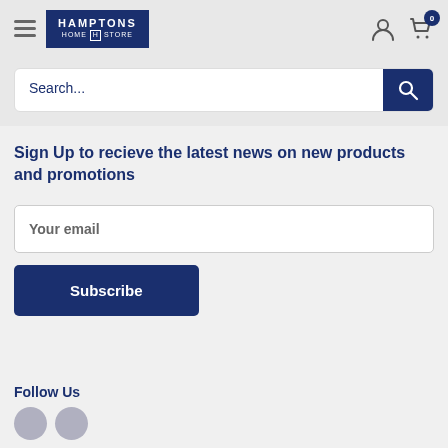Hamptons Home Store — navigation header with logo, hamburger menu, user icon, and cart (0)
Search...
Sign Up to recieve the latest news on new products and promotions
Your email
Subscribe
Follow Us